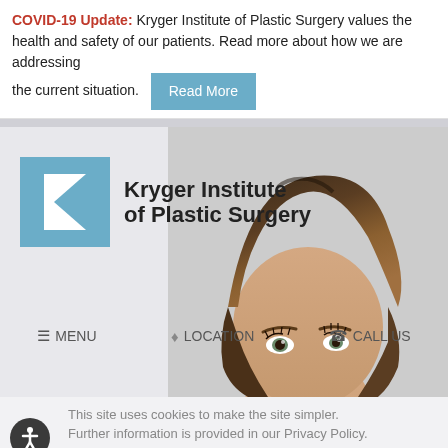COVID-19 Update: Kryger Institute of Plastic Surgery values the health and safety of our patients. Read more about how we are addressing the current situation. Read More
[Figure (logo): Kryger Institute of Plastic Surgery logo with blue K icon and name]
[Figure (photo): Woman's face, top half visible, brunette hair]
≡ MENU   ♦ LOCATION   ☎ CALL US
This site uses cookies to make the site simpler. Further information is provided in our Privacy Policy.
Accept